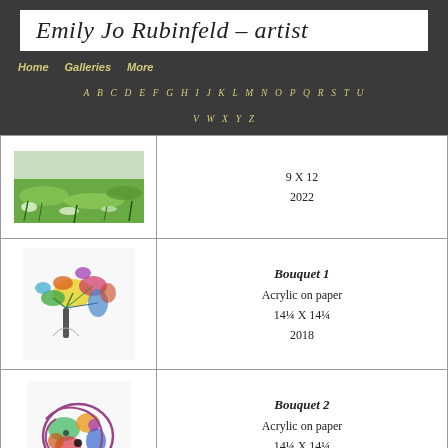Emily Jo Rubinfeld – artist
Home   Galleries   More
A B C D E F G H I J K L M N O P Q R S T U V W X Y Z
| Image | Details |
| --- | --- |
| [landscape painting] | 9 X 12
2022 |
| [Bouquet 1 painting] | Bouquet 1
Acrylic on paper
14¼ X 14¼
2018 |
| [Bouquet 2 painting] | Bouquet 2
Acrylic on paper
14¼ X 14¼
2018 |